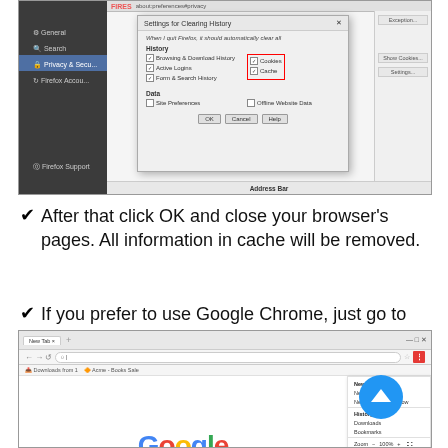[Figure (screenshot): Firefox browser settings dialog 'Settings for Clearing History' showing checkboxes for History (Browsing & Download History, Active Logins, Form & Search History) and highlighted in red box: Cookies and Cache checkboxes. Data section shows Site Preferences and Offline Website Data. Buttons: OK, Cancel, Help.]
After that click OK and close your browser's pages. All information in cache will be removed.
If you prefer to use Google Chrome, just go to More menu (three dots at the right top), choose More tools and then Clear browsing data.
[Figure (screenshot): Google Chrome browser window showing the More menu (three dots) opened with options including New tab, New window, New incognito window, History, Downloads, Bookmarks, Zoom, and other items. The Google homepage is visible with the Google logo.]